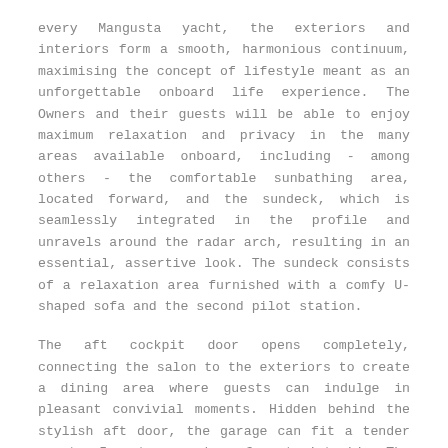every Mangusta yacht, the exteriors and interiors form a smooth, harmonious continuum, maximising the concept of lifestyle meant as an unforgettable onboard life experience. The Owners and their guests will be able to enjoy maximum relaxation and privacy in the many areas available onboard, including - among others - the comfortable sunbathing area, located forward, and the sundeck, which is seamlessly integrated in the profile and unravels around the radar arch, resulting in an essential, assertive look. The sundeck consists of a relaxation area furnished with a comfy U-shaped sofa and the second pilot station.
The aft cockpit door opens completely, connecting the salon to the exteriors to create a dining area where guests can indulge in pleasant convivial moments. Hidden behind the stylish aft door, the garage can fit a tender up to 5 metres and a 3-seat jet-ski. The Mangusta 104 REV comes with 2 MTU 16V2000M96L engines and as many waterjets, pushing her to a maximum speed of 35 knots, noiselessly and